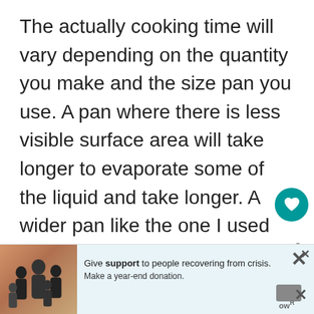The actually cooking time will vary depending on the quantity you make and the size pan you use. A pan where there is less visible surface area will take longer to evaporate some of the liquid and take longer. A wider pan like the one I used will be quicker.
The trick is to make sure that the chutney cooks for at least half an hour. This give the onion, apple and figs enough chan o soften. If it is still quite thin after this time, the ow the
[Figure (other): Advertisement banner at the bottom of the page with an image of a family on the left and text reading 'Give support to people recovering from crisis. Make a year-end donation.' with close buttons and a Wayfair logo on the right.]